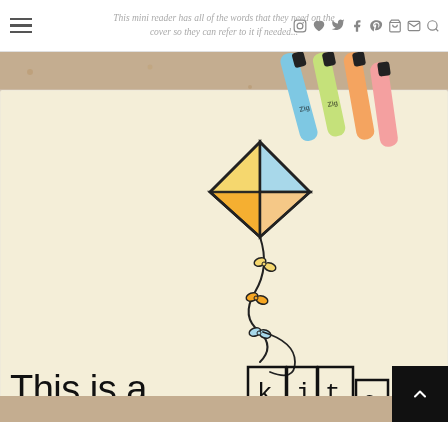This mini reader has all of the words that they need on the cover so they can refer to it if needed...
[Figure (photo): Photo of a children's mini reader book showing a kite illustration and the text 'This is a kite' with letter boxes, alongside some colorful markers on a cork board surface.]